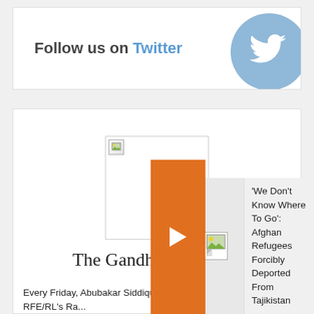[Figure (infographic): Follow us on Twitter banner with Twitter bird logo on a blue circle]
[Figure (illustration): Newsletter card for The Gandhara Briefing with broken image placeholder]
The Gandhara Briefing
Every Friday, Abubakar Siddique, a journalist for RFE/RL's Ra... Pashtun Que... analysis from...
[Figure (infographic): Article card overlay: 'We Don't Know Where To Go': Afghan Refugees Forcibly Deported From Tajikistan, with orange arrow button and broken thumbnail]